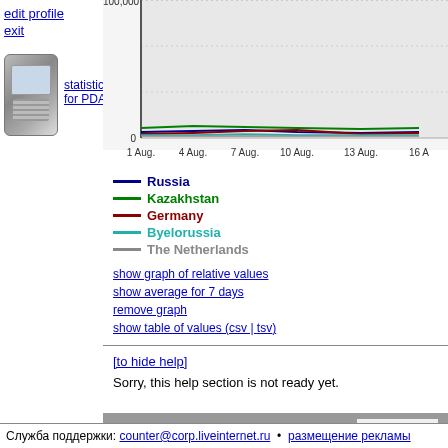edit profile
exit
[Figure (line-chart): Line chart showing visitor counts over time (1 Aug to 16 Aug+) for Russia, Kazakhstan, Germany, Byelorussia, The Netherlands. Y-axis goes from 0 to 100,000+. Lines cluster near 0 except partially visible top.]
statistics for PDA
Russia, Kazakhstan, Germany, Byelorussia, The Netherlands legend
show graph of relative values
show average for 7 days
remove graph
show table of values (csv | tsv)
[to hide help]
Sorry, this help section is not ready yet.
countries
For the owner of the site:  change site description  coun...
Служба поддержки: counter@corp.liveinternet.ru • размещение рекламы